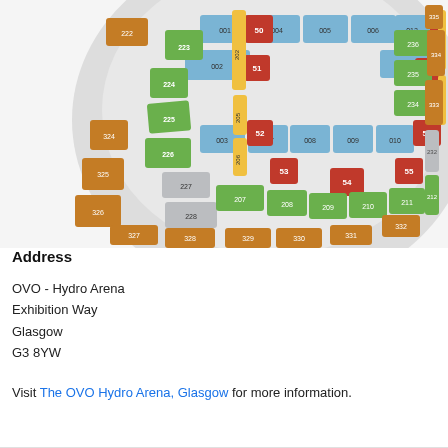[Figure (other): OVO Hydro Arena seating map showing colored sections: blue floor/stage sections (001-012), red sections (50-57), yellow sections (202-216), green sections (207-235), gray sections (225-232), and orange outer sections (324-335). The arena is shown as a circular bowl layout with section numbers labeled.]
Address
OVO - Hydro Arena
Exhibition Way
Glasgow
G3 8YW
Visit The OVO Hydro Arena, Glasgow for more information.